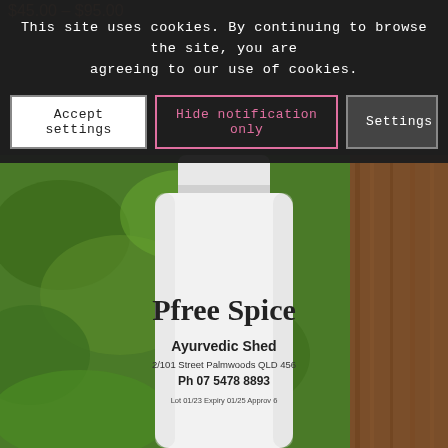$45.00 – $95.00
This site uses cookies. By continuing to browse the site, you are agreeing to our use of cookies.
Accept settings
Hide notification only
Settings
[Figure (photo): A white cylindrical jar/bottle with label 'Pfree Spice' by Ayurvedic Shed, 2/101 Street Palmwoods QLD 456, Ph 07 5478 8893, with expiry and approval details. Set against a green leafy background on the left and a wooden surface on the right.]